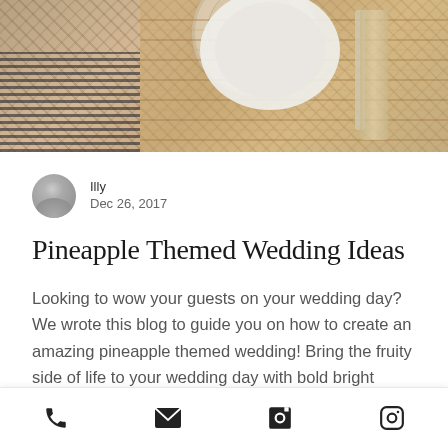[Figure (photo): Top hero image showing a table setting with a woven placemat, plate, and cutlery on a light wooden surface with a dark textured element on the left]
Illy
Dec 26, 2017
Pineapple Themed Wedding Ideas
Looking to wow your guests on your wedding day? We wrote this blog to guide you on how to create an amazing pineapple themed wedding! Bring the fruity side of life to your wedding day with bold bright colours, golds and those all important pineapples. To
Phone | Email | Facebook | Instagram